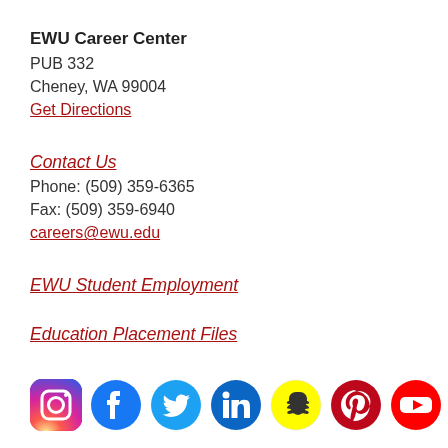EWU Career Center
PUB 332
Cheney, WA 99004
Get Directions
Contact Us
Phone: (509) 359-6365
Fax: (509) 359-6940
careers@ewu.edu
EWU Student Employment
Education Placement Files
[Figure (illustration): Row of social media icons: Instagram, Facebook, Twitter, LinkedIn, Snapchat, Pinterest, YouTube]